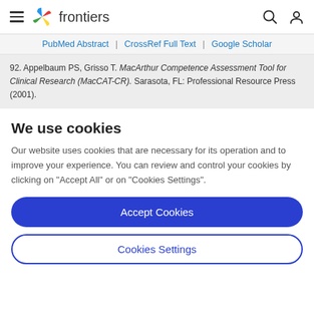frontiers
PubMed Abstract | CrossRef Full Text | Google Scholar
92. Appelbaum PS, Grisso T. MacArthur Competence Assessment Tool for Clinical Research (MacCAT-CR). Sarasota, FL: Professional Resource Press (2001).
We use cookies
Our website uses cookies that are necessary for its operation and to improve your experience. You can review and control your cookies by clicking on "Accept All" or on "Cookies Settings".
Accept Cookies
Cookies Settings